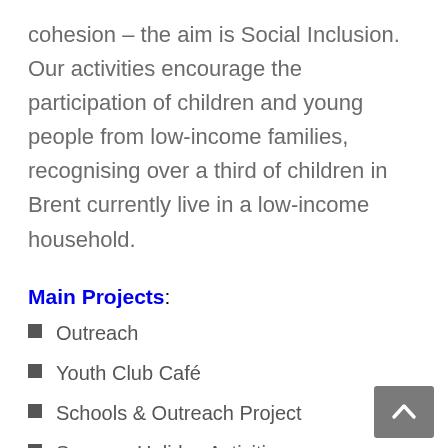cohesion – the aim is Social Inclusion.  Our activities encourage the participation of children and young people from low-income families, recognising over a third of children in Brent currently live in a low-income household.
Main Projects:
Outreach
Youth Club Café
Schools & Outreach Project
Summer Holiday Activities